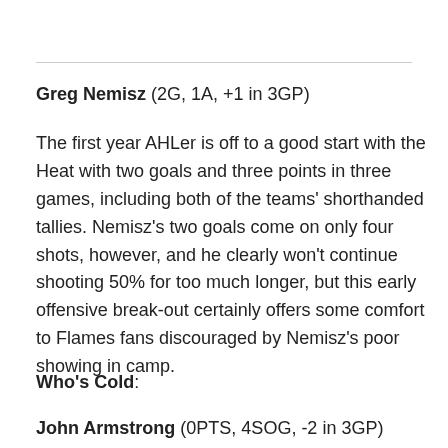Greg Nemisz (2G, 1A, +1 in 3GP)
The first year AHLer is off to a good start with the Heat with two goals and three points in three games, including both of the teams' shorthanded tallies. Nemisz's two goals come on only four shots, however, and he clearly won't continue shooting 50% for too much longer, but this early offensive break-out certainly offers some comfort to Flames fans discouraged by Nemisz's poor showing in camp.
Who's Cold:
John Armstrong (0PTS, 4SOG,  -2 in 3GP)